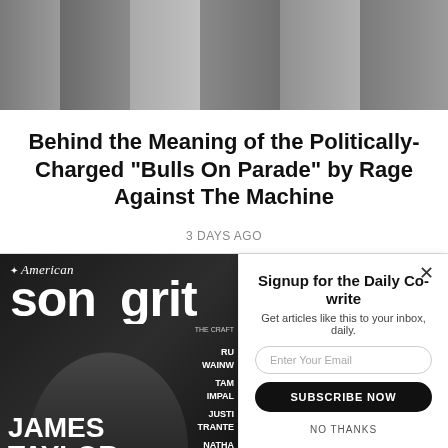[Figure (photo): Black and white photo of a band/group of people at the top of the page]
Behind the Meaning of the Politically-Charged "Bulls On Parade" by Rage Against The Machine
3 DAYS AGO
[Figure (photo): American Songwriter magazine cover featuring James Taylor]
Signup for the Daily Co-write
Get articles like this to your inbox, daily.
[Enter Your Email input]
[SUBSCRIBE NOW button]
NO THANKS